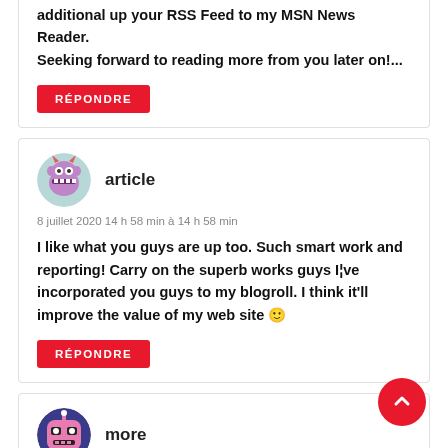additional up your RSS Feed to my MSN News Reader. Seeking forward to reading more from you later on!...
RÉPONDRE
[Figure (illustration): Purple monster avatar icon for user 'article']
article
8 juillet 2020 14 h 58 min à 14 h 58 min
I like what you guys are up too. Such smart work and reporting! Carry on the superb works guys I¦ve incorporated you guys to my blogroll. I think it'll improve the value of my web site 🙂
RÉPONDRE
[Figure (illustration): Pink robot/alien avatar icon for user 'more']
more
8 juillet 2020 16 h 55 min à 16 h 55 min
Good write-up, I?¦m normal visitor of one?¦s site, maintain the excellent operate, and It is going to be a regular visitor